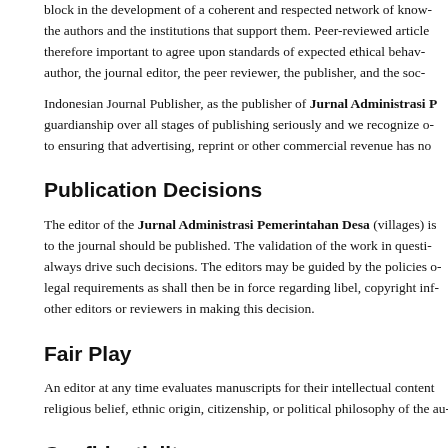block in the development of a coherent and respected network of knowledge. the authors and the institutions that support them. Peer-reviewed articles are therefore important to agree upon standards of expected ethical behaviour for the author, the journal editor, the peer reviewer, the publisher, and the society.
Indonesian Journal Publisher, as the publisher of Jurnal Administrasi P guardianship over all stages of publishing seriously and we recognize our obligations to ensuring that advertising, reprint or other commercial revenue has no impact or
Publication Decisions
The editor of the Jurnal Administrasi Pemerintahan Desa (villages) is responsible to the journal should be published. The validation of the work in question and its always drive such decisions. The editors may be guided by the policies of the journal legal requirements as shall then be in force regarding libel, copyright infringement other editors or reviewers in making this decision.
Fair Play
An editor at any time evaluates manuscripts for their intellectual content without religious belief, ethnic origin, citizenship, or political philosophy of the authors.
Confidentiality
The editor and any editorial staff must not disclose any information about a submitted manuscript to anyone other than the corresponding authors, reviewers, potential reviewers, other editorial